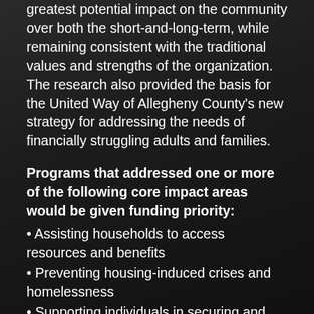greatest potential impact on the community over both the short-and-long-term, while remaining consistent with the traditional values and strengths of the organization. The research also provided the basis for the United Way of Allegheny County's new strategy for addressing the needs of financially struggling adults and families.
Programs that addressed one or more of the following core impact areas would be given funding priority:
Assisting households to access resources and benefits
Preventing housing-induced crises and homelessness
Supporting individuals in securing and maintaining employment
Promoting collaborations across the service landscape
In order to further define these impact areas and to